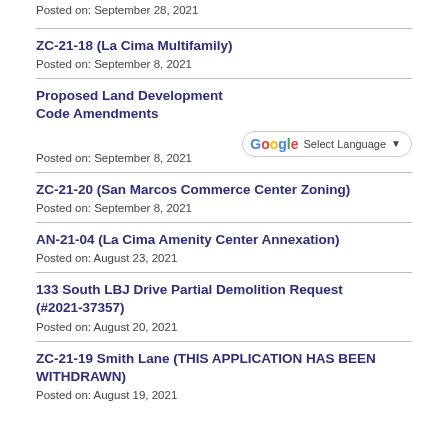Posted on: September 28, 2021
ZC-21-18 (La Cima Multifamily)
Posted on: September 8, 2021
Proposed Land Development Code Amendments
Posted on: September 8, 2021
ZC-21-20 (San Marcos Commerce Center Zoning)
Posted on: September 8, 2021
AN-21-04 (La Cima Amenity Center Annexation)
Posted on: August 23, 2021
133 South LBJ Drive Partial Demolition Request (#2021-37357)
Posted on: August 20, 2021
ZC-21-19 Smith Lane (THIS APPLICATION HAS BEEN WITHDRAWN)
Posted on: August 19, 2021